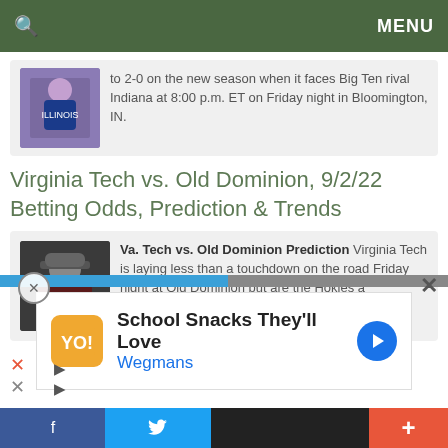MENU
to 2-0 on the new season when it faces Big Ten rival Indiana at 8:00 p.m. ET on Friday night in Bloomington, IN.
Virginia Tech vs. Old Dominion, 9/2/22 Betting Odds, Prediction & Trends
Va. Tech vs. Old Dominion Prediction Virginia Tech is laying less than a touchdown on the road Friday night at Old Dominion but are the Hokies a trustworthy option? Kickoff is set for 7:00 p.m. ET...
[Figure (screenshot): Advertisement for Wegmans: School Snacks They'll Love]
Social sharing bar with Facebook, Twitter, and Plus buttons